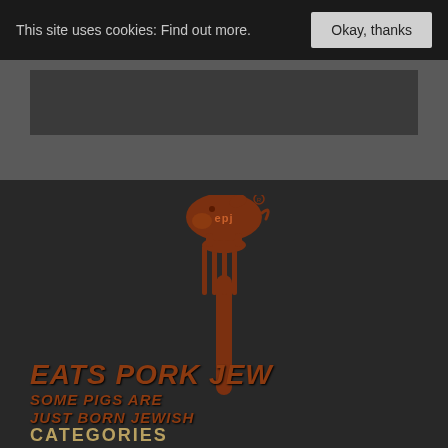This site uses cookies: Find out more.
Okay, thanks
[Figure (logo): Eats Pork Jew logo: a brown/rust-colored fork with a cartoon pig sitting on top, the pig has 'epj' written on it. Below the logo image, text reads 'EATS PORK JEW' in large bold italic letters, and below that 'SOME PIGS ARE JUST BORN JEWISH' in smaller bold italic letters. All text and imagery are in a rust/brown color on a dark background.]
CATEGORIES